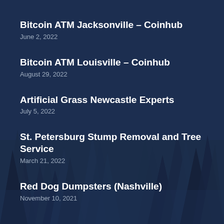Bitcoin ATM Jacksonville – Coinhub
June 2, 2022
Bitcoin ATM Louisville – Coinhub
August 29, 2022
Artificial Grass Newcastle Experts
July 5, 2022
St. Petersburg Stump Removal and Tree Service
March 21, 2022
Red Dog Dumpsters (Nashville)
November 10, 2021